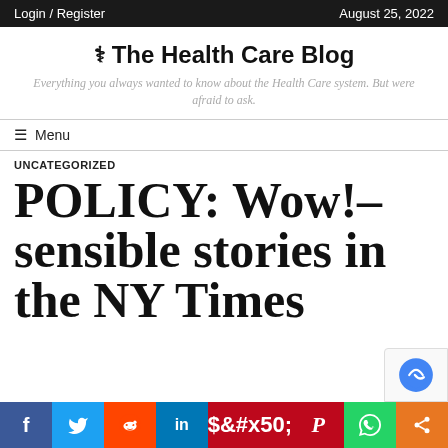Login / Register | August 25, 2022
The Health Care Blog
Everything you always wanted to know about the Health Care system. But were afraid to ask.
Menu
UNCATEGORIZED
POLICY: Wow!–sensible stories in the NY Times